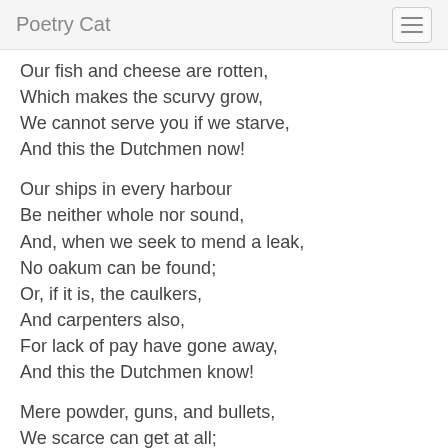Poetry Cat
Our fish and cheese are rotten,
Which makes the scurvy grow,
We cannot serve you if we starve,
And this the Dutchmen now!
Our ships in every harbour
Be neither whole nor sound,
And, when we seek to mend a leak,
No oakum can be found;
Or, if it is, the caulkers,
And carpenters also,
For lack of pay have gone away,
And this the Dutchmen know!
Mere powder, guns, and bullets,
We scarce can get at all;
Their price was spent in merriment
And revel at Whitehall,
While we in tattered doublets
From ship to ship must row,